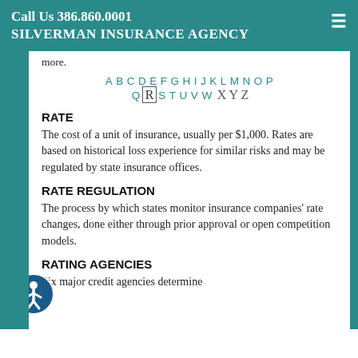Call Us 386.860.0001 SILVERMAN INSURANCE AGENCY
more.
A B C D E F G H I J K L M N O P Q R S T U V W X Y Z
RATE
The cost of a unit of insurance, usually per $1,000. Rates are based on historical loss experience for similar risks and may be regulated by state insurance offices.
RATE REGULATION
The process by which states monitor insurance companies' rate changes, done either through prior approval or open competition models.
RATING AGENCIES
Six major credit agencies determine